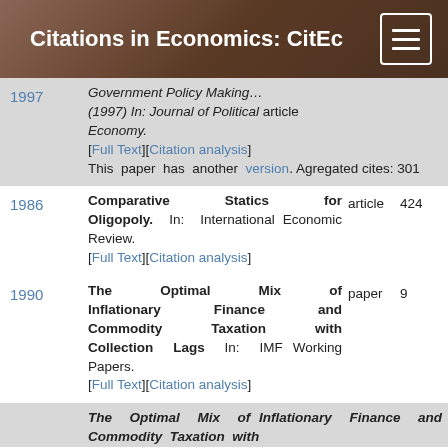Citations in Economics: CitEc
1997 | (1997) In: Journal of Political Economy. [Full Text][Citation analysis] This paper has another version. Agregated cites: 301 | article
1986 | Comparative Statics for Oligopoly. In: International Economic Review. [Full Text][Citation analysis] | article | 424
1990 | The Optimal Mix of Inflationary Finance and Commodity Taxation with Collection Lags In: IMF Working Papers. [Full Text][Citation analysis] | paper | 9
The Optimal Mix of Inflationary Finance and Commodity Taxation with (continued)